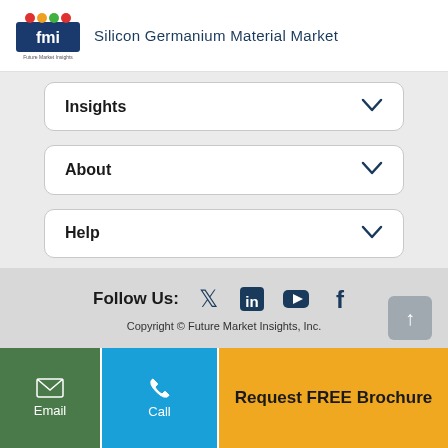Silicon Germanium Material Market
Insights
About
Help
Follow Us:
Copyright © Future Market Insights, Inc.
Email
Call
Request FREE Brochure